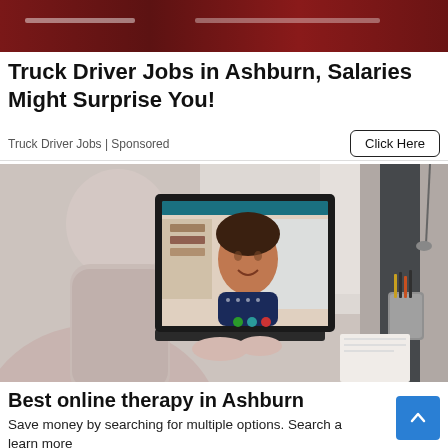[Figure (photo): Advertisement banner image with dark red background at the top]
Truck Driver Jobs in Ashburn, Salaries Might Surprise You!
Truck Driver Jobs | Sponsored
[Figure (photo): Photo of a person sitting from behind, looking at a laptop screen showing a woman on a video call, with a desk setup]
Best online therapy in Ashburn
Save money by searching for multiple options. Search a learn more